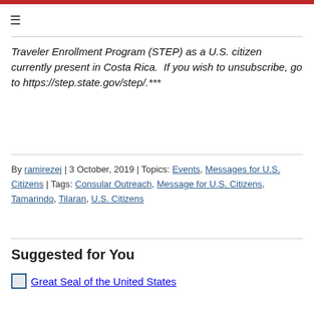Traveler Enrollment Program (STEP) as a U.S. citizen currently present in Costa Rica.  If you wish to unsubscribe, go to https://step.state.gov/step/.***
By ramirezej | 3 October, 2019 | Topics: Events, Messages for U.S. Citizens | Tags: Consular Outreach, Message for U.S. Citizens, Tamarindo, Tilaran, U.S. Citizens
Suggested for You
[Figure (photo): Great Seal of the United States thumbnail image with link]